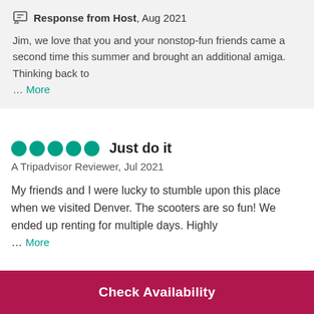Response from Host, Aug 2021
Jim, we love that you and your nonstop-fun friends came a second time this summer and brought an additional amiga. Thinking back to … More
Just do it
A Tripadvisor Reviewer, Jul 2021
My friends and I were lucky to stumble upon this place when we visited Denver. The scooters are so fun! We ended up renting for multiple days. Highly … More
Check Availability